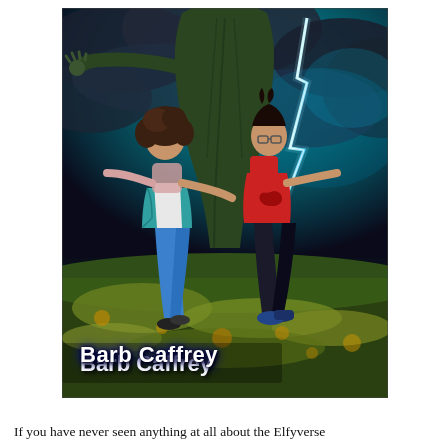[Figure (illustration): Book cover illustration showing two young people (a girl in a teal jacket and blue jeans, and a boy in a red t-shirt and dark pants with glasses) leaping dynamically in front of a tall cloaked figure, set against a dramatic stormy sky with lightning bolts. The ground is covered in autumn foliage. The author name 'Barb Caffrey' appears in bold white text at the bottom of the cover.]
If you have never seen anything at all about the Elfyverse